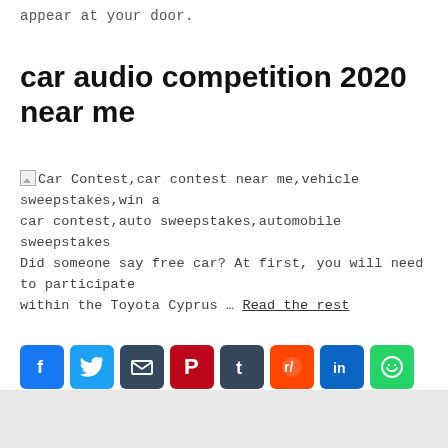appear at your door.
car audio competition 2020 near me
[Figure (illustration): Broken image placeholder followed by alt text: Car Contest,car contest near me,vehicle sweepstakes,win a car contest,auto sweepstakes,automobile sweepstakes]
Did someone say free car? At first, you will need to participate within the Toyota Cyprus … Read the rest
[Figure (infographic): Social share buttons row: Facebook (blue), Twitter (light blue), Email (dark blue-gray), Pinterest (dark red), Tumblr (dark navy), Reddit (orange-red), LinkedIn (blue), WhatsApp (green), Blogger (orange), Copy link (teal), More/Plus (blue)]